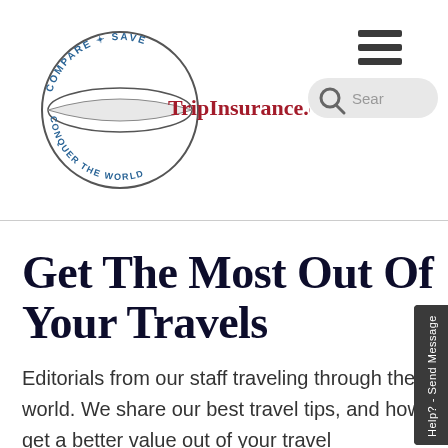[Figure (logo): TripInsurance.com logo: circular badge with text 'COMPARE * SAVE' on top arc and 'CONQUER THE WORLD' on bottom arc, with a horizontal band through the center of the circle. The brand name 'TripInsurance.com' appears in dark red/crimson serif font to the right of or overlapping the circle.]
[Figure (infographic): Hamburger menu icon (three horizontal dark lines) in the upper right area of the header.]
[Figure (infographic): Search bar with magnifying glass icon and placeholder text 'Sear' (truncated) on a light grey rounded background.]
Get The Most Out Of Your Travels
Editorials from our staff traveling through the world. We share our best travel tips, and how to get a better value out of your travel